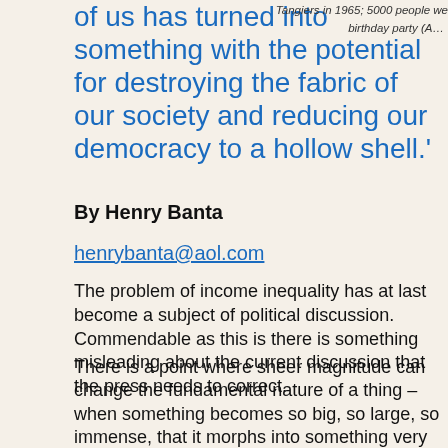of us has turned into something with the potential for destroying the fabric of our society and reducing our democracy to a hollow shell.'
Tangiers in 1965; 5000 people were at his birthday party (A…
By Henry Banta
henrybanta@aol.com
The problem of income inequality has at last become a subject of political discussion. Commendable as this is there is something misleading about the current discussion that the press needs to correct.
There is a point where sheer magnitude can change the fundamental nature of a thing – when something becomes so big, so large, so immense, that it morphs into something very different from what otherwise would be in the same category. The staggering gap in wealth and income of the top 0.1% is just such a thing. It is bigger than the gap between the 1% and all the rest, it is so big that it is a vastly different set of problems.
I'm not suggesting that the difference between the top 1% and 99% is not a problem or even that the differences between the even top 10% and all the rest of us is not a problem. They…